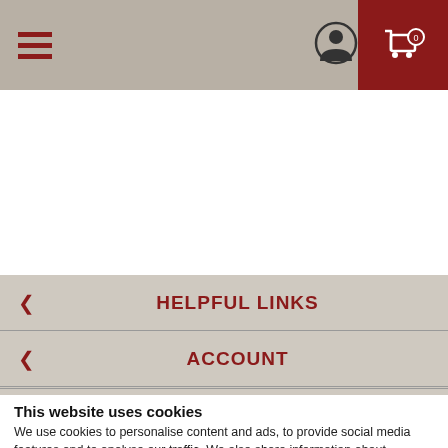[Figure (screenshot): Navigation bar with hamburger menu (3 horizontal lines in dark red), user/account icon, and dark red cart icon area on the right]
[Figure (screenshot): Footer section with collapsible links: HELPFUL LINKS, ACCOUNT, INFO with chevron icons]
[Figure (screenshot): Social media follow row: Follow Us: with Facebook, Twitter, Instagram icons and ©2022 DirectToU, LLC logo]
This website uses cookies
We use cookies to personalise content and ads, to provide social media features and to analyse our traffic. We also share information about...